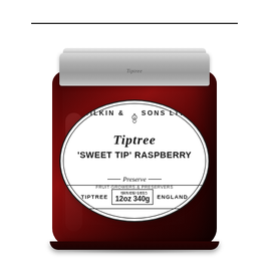[Figure (photo): A glass jar of Wilkin & Sons Ltd Tiptree 'Sweet Tip' Raspberry Preserve, 12oz / 340g net weight, Tiptree England. The jar has a silver metal lid with the Tiptree script logo, and a round white label with black text showing the brand name, product name, and weight details. The jar contains dark red raspberry preserve visible through the glass.]